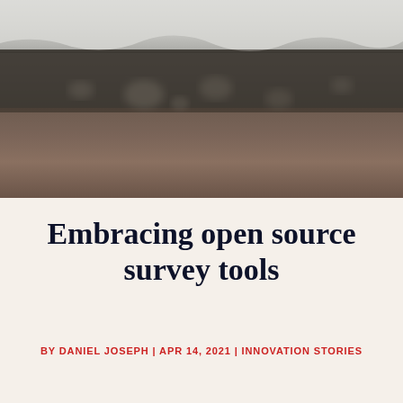[Figure (photo): Blurred outdoor photograph showing a snowy or frosted ledge/surface in the upper portion with bokeh light effects, transitioning to a dark brown/earth-toned background below. Monochrome and muted tones throughout.]
Embracing open source survey tools
BY DANIEL JOSEPH | APR 14, 2021 | INNOVATION STORIES